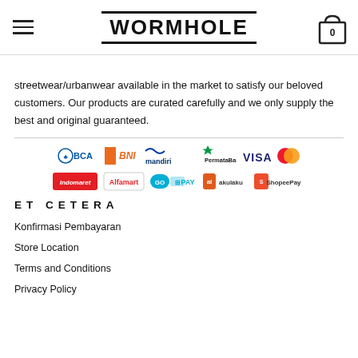WORMHOLE
streetwear/urbanwear available in the market to satisfy our beloved customers. Our products are curated carefully and we only supply the best and original guaranteed.
[Figure (logo): Payment method logos: BCA, BNI, mandiri, PermataBank, VISA, Mastercard, Indomaret, Alfamart, GO PAY, akulaku, ShopeePay]
ET CETERA
Konfirmasi Pembayaran
Store Location
Terms and Conditions
Privacy Policy